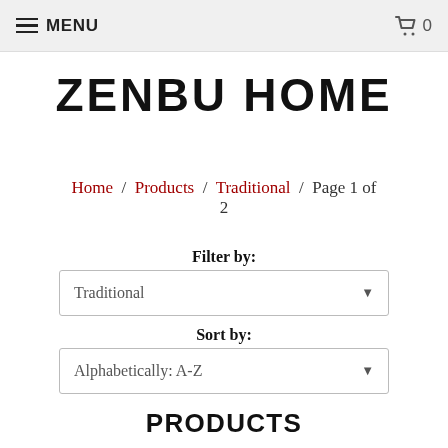MENU  0
ZENBU HOME
Home / Products / Traditional / Page 1 of 2
Filter by:
Traditional
Sort by:
Alphabetically: A-Z
PRODUCTS